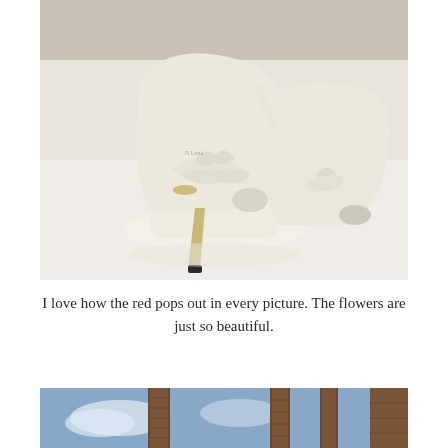[Figure (photo): Close-up photograph of two white satin high-heel peep-toe shoes with bow/ruffle detail at the toe, gold stiletto heels, placed on a white surface]
I love how the red pops out in every picture. The flowers are just so beautiful.
[Figure (photo): Partial photograph showing palm trees against a blue sky, cropped at the bottom of the page]